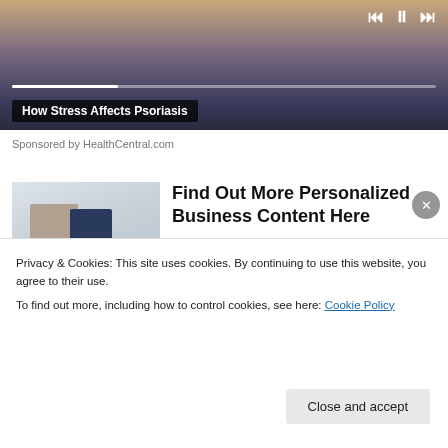[Figure (screenshot): Video player showing partial image with playback controls (skip back, pause, skip forward) and progress bar. Video title overlay reads 'How Stress Affects Psoriasis'.]
Sponsored by HealthCentral.com
[Figure (photo): Two businessmen in suits looking at a phone/tablet together in an office setting.]
Find Out More Personalized Business Content Here
Best Next Read
[Figure (photo): Partially visible thumbnail showing a person with an electric bike.]
The Best Electric Bikes of 2022
Privacy & Cookies: This site uses cookies. By continuing to use this website, you agree to their use.
To find out more, including how to control cookies, see here: Cookie Policy
Close and accept